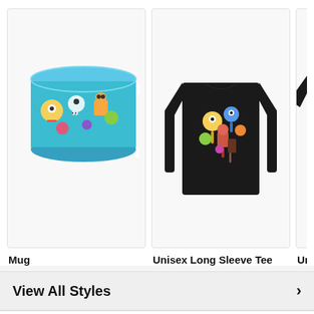[Figure (photo): A white mug with colorful ice cream cartoon character pattern on teal/turquoise background]
Mug
[Figure (photo): A black unisex long sleeve tee with colorful ice cream cartoon character pattern on the front]
Unisex Long Sleeve Tee
[Figure (photo): A black unisex cotton tee with colorful ice cream cartoon character pattern, partially visible]
Unisex Cott
View All Styles
Product Story
Can you hear it? The Ice Cream Truck? You run it down to get your fave cartoon character popsicle but open it to see an unrecognizable gum ball eyed monster... ah the memories. If you recognize these classic frosty treats you're probs a 90s or 2000s kid, and we hope you enjoy this tasty flashback!